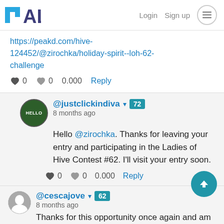PAL  Login  Sign up
https://peakd.com/hive-124452/@zirochka/holiday-spirit--loh-62-challenge
♥ 0   ♥ 0   0.000   Reply
@justclickindiva 72
8 months ago
Hello @zirochka. Thanks for leaving your entry and participating in the Ladies of Hive Contest #62. I'll visit your entry soon.
♥ 0   ♥ 0   0.000   Reply
@cescajove 62
8 months ago
Thanks for this opportunity once again and am